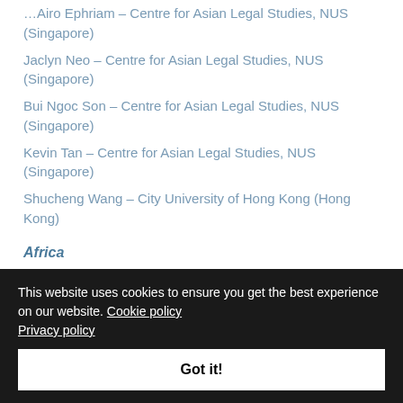…Airo Ephriam – Centre for Asian Legal Studies, NUS (Singapore)
Jaclyn Neo – Centre for Asian Legal Studies, NUS (Singapore)
Bui Ngoc Son – Centre for Asian Legal Studies, NUS (Singapore)
Kevin Tan – Centre for Asian Legal Studies, NUS (Singapore)
Shucheng Wang – City University of Hong Kong (Hong Kong)
Africa
Francesco Biagi (coordinator) – Università di Bologna/CCSDD (Italy)
Justin Frosini –Bocconi University/CCSDD (Italy)
This website uses cookies to ensure you get the best experience on our website. Cookie policy Privacy policy
Got it!